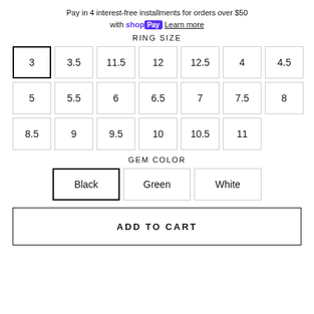Pay in 4 interest-free installments for orders over $50 with shop Pay Learn more
RING SIZE
Ring size options: 3 (selected), 3.5, 11.5, 12, 12.5, 4, 4.5, 5, 5.5, 6, 6.5, 7, 7.5, 8, 8.5, 9, 9.5, 10, 10.5, 11
GEM COLOR
Gem color options: Black (selected), Green, White
ADD TO CART